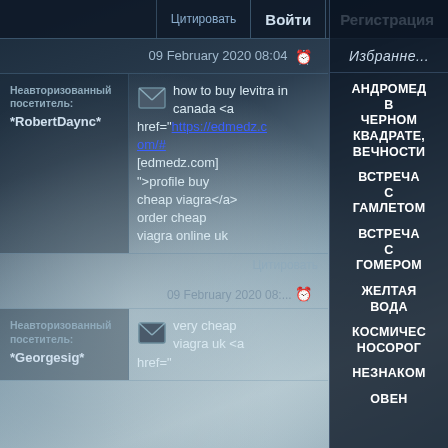Войти | Регистрация
09 February 2020 08:04
Неавторизованный посетитель: *RobertDaync*
how to buy levitra in canada <a href="https://edmedz.com/#  [edmedz.com] ">profile buy cheap viagra</a> order cheap viagra online uk
Цитировать
09 February 2020 08:...
Неавторизованный посетитель: *Georgesig*
very cheap viagra uk <a href="
Избранное
АНДРОМЕДА В ЧЕРНОМ КВАДРАТЕ, ВЕЧНОСТИ
ВСТРЕЧА С ГАМЛЕТОМ
ВСТРЕЧА С ГОМЕРОМ
ЖЕЛТАЯ ВОДА
КОСМИЧЕС НОСОРОГ
НЕЗНАКОМ
ОВЕН